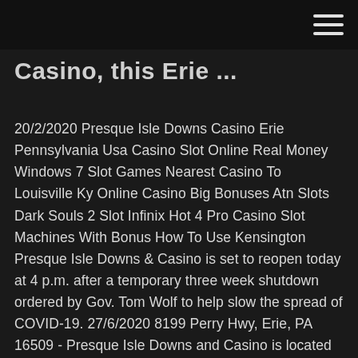Casino, this Erie ...
20/2/2020 Presque Isle Downs Casino Erie Pennsylvania Usa Casino Slot Online Real Money Windows 7 Slot Games Nearest Casino To Louisville Ky Online Casino Big Bonuses Atn Slots Dark Souls 2 Slot Infinix Hot 4 Pro Casino Slot Machines With Bonus How To Use Kensington Presque Isle Downs & Casino is set to reopen today at 4 p.m. after a temporary three week shutdown ordered by Gov. Tom Wolf to help slow the spread of COVID-19. 27/6/2020 8199 Perry Hwy, Erie, PA 16509 - Presque Isle Downs and Casino is located southeast of downtown Erie, near I-90 exit 27. You can enjoy horse racing and gambling at the same place, and there are at least six hotels at this exit. Baymont by Wyndham Erie is located just a 1-minute drive off Interstate